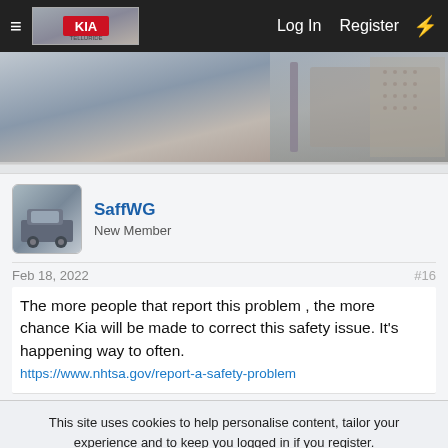Log In  Register
[Figure (screenshot): Banner image showing a car interior/exterior, partially cropped at top]
SaffWG
New Member
Feb 18, 2022  #16
The more people that report this problem , the more chance Kia will be made to correct this safety issue. It's happening way to often.
https://www.nhtsa.gov/report-a-safety-problem
This site uses cookies to help personalise content, tailor your experience and to keep you logged in if you register.
By continuing to use this site, you are consenting to our use of cookies.